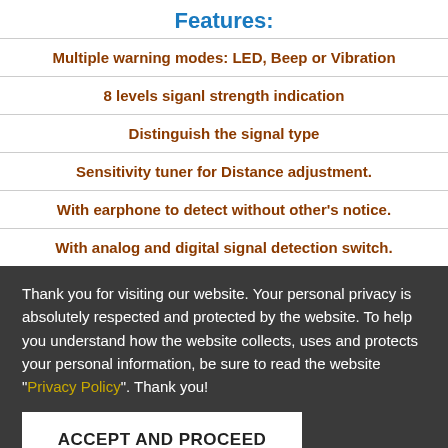Features:
Multiple warning modes: LED, Beep or Vibration
8 levels siganl strength indication
Distinguish the signal type
Sensitivity tuner for Distance adjustment.
With earphone to detect without other's notice.
With analog and digital signal detection switch.
Thank you for visiting our website. Your personal privacy is absolutely respected and protected by the website. To help you understand how the website collects, uses and protects your personal information, be sure to read the website "Privacy Policy". Thank you!
ACCEPT AND PROCEED